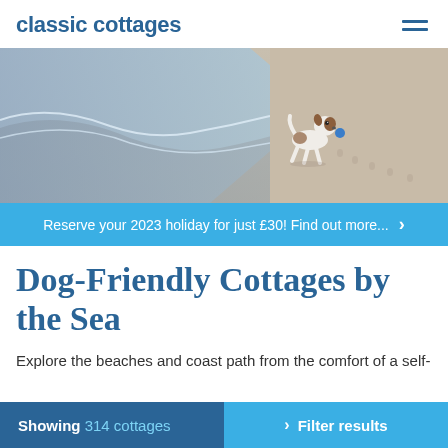classic cottages
[Figure (photo): A small Jack Russell terrier dog running on a sandy beach near the water's edge, carrying a ball. The beach scene shows wet sand, gentle waves, and paw prints in the sand.]
Reserve your 2023 holiday for just £30! Find out more...
Dog-Friendly Cottages by the Sea
Explore the beaches and coast path from the comfort of a self-catering cottage, dog friendly of course...
Showing 314 cottages   Filter results